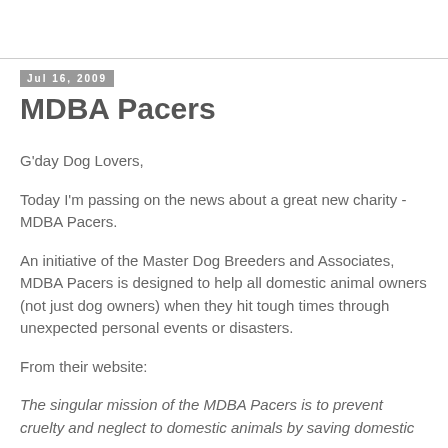Jul 16, 2009
MDBA Pacers
G'day Dog Lovers,
Today I'm passing on the news about a great new charity - MDBA Pacers.
An initiative of the Master Dog Breeders and Associates, MDBA Pacers is designed to help all domestic animal owners (not just dog owners) when they hit tough times through unexpected personal events or disasters.
From their website:
The singular mission of the MDBA Pacers is to prevent cruelty and neglect to domestic animals by saving domestic...